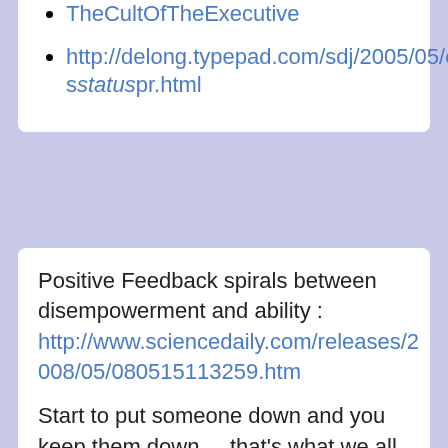TheCultOfTheExecutive
http://delong.typepad.com/sdj/2005/05/classstatuspr.html
Positive Feedback spirals between disempowerment and ability : http://www.sciencedaily.com/releases/2008/05/080515113259.htm
Start to put someone down and you keep them down ... that's what we all